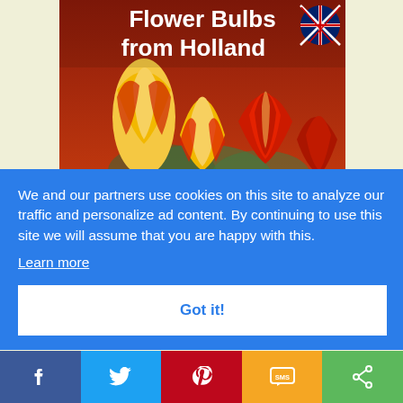[Figure (photo): Book cover showing red and yellow tulips with text 'Flower Bulbs from Holland' and UK flag icon]
We and our partners use cookies on this site to analyze our traffic and personalize ad content. By continuing to use this site we will assume that you are happy with this.
Learn more
Got it!
[Figure (infographic): Social sharing bar with Facebook, Twitter, Pinterest, SMS, and share icons]